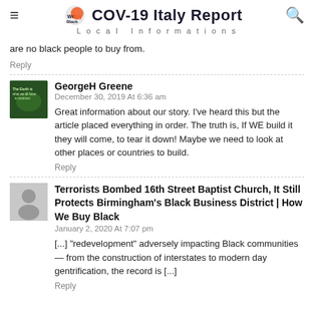COV-19 Italy Report — Local Informations
are no black people to buy from.
Reply
GeorgeH Greene
December 30, 2019 At 6:36 am
Great information about our story. I've heard this but the article placed everything in order. The truth is, If WE build it they will come, to tear it down! Maybe we need to look at other places or countries to build.
Reply
Terrorists Bombed 16th Street Baptist Church, It Still Protects Birmingham's Black Business District | How We Buy Black
January 2, 2020 At 7:07 pm
[...] "redevelopment" adversely impacting Black communities — from the construction of interstates to modern day gentrification, the record is [...]
Reply